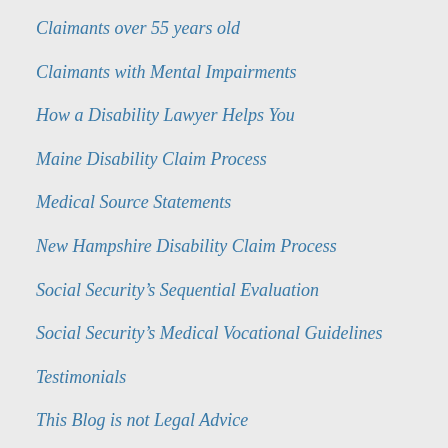Claimants over 55 years old
Claimants with Mental Impairments
How a Disability Lawyer Helps You
Maine Disability Claim Process
Medical Source Statements
New Hampshire Disability Claim Process
Social Security's Sequential Evaluation
Social Security's Medical Vocational Guidelines
Testimonials
This Blog is not Legal Advice
Veterans Filing for Disability